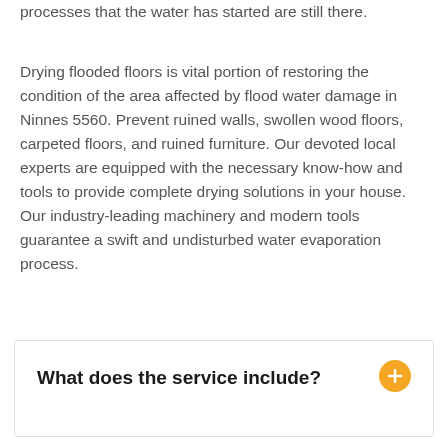processes that the water has started are still there.
Drying flooded floors is vital portion of restoring the condition of the area affected by flood water damage in Ninnes 5560. Prevent ruined walls, swollen wood floors, carpeted floors, and ruined furniture. Our devoted local experts are equipped with the necessary know-how and tools to provide complete drying solutions in your house. Our industry-leading machinery and modern tools guarantee a swift and undisturbed water evaporation process.
What does the service include?